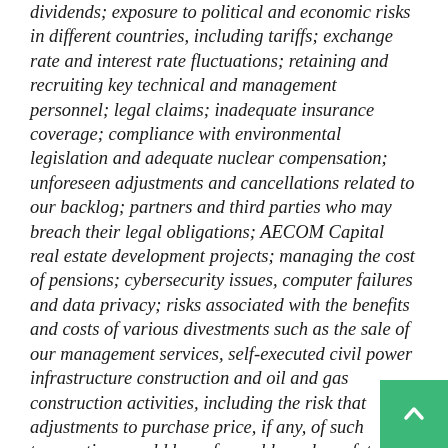dividends; exposure to political and economic risks in different countries, including tariffs; exchange rate and interest rate fluctuations; retaining and recruiting key technical and management personnel; legal claims; inadequate insurance coverage; compliance with environmental legislation and adequate nuclear compensation; unforeseen adjustments and cancellations related to our backlog; partners and third parties who may breach their legal obligations; AECOM Capital real estate development projects; managing the cost of pensions; cybersecurity issues, computer failures and data privacy; risks associated with the benefits and costs of various divestments such as the sale of our management services, self-executed civil power infrastructure construction and oil and gas construction activities, including the risk that adjustments to purchase price, if any, of such transactions could be unfavorable and any future proceeds due to us from such transactions could be less than we expect; and other additional risks and factors that could cause actual results to differ materially from our forward-looking statements set forth in our reports filed with the Securities and